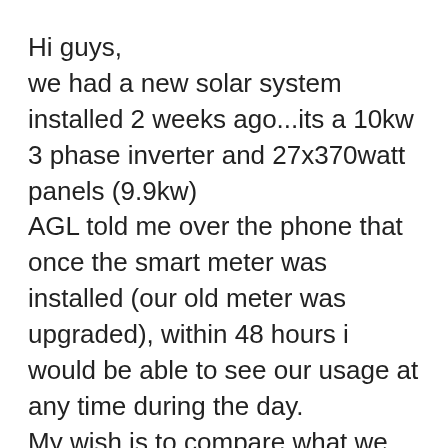Hi guys,
we had a new solar system installed 2 weeks ago...its a 10kw 3 phase inverter and 27x370watt panels (9.9kw)
AGL told me over the phone that once the smart meter was installed (our old meter was upgraded), within 48 hours i would be able to see our usage at any time during the day.
My wish is to compare what we are producing with what is being used on an hourly basis throughout the day.
I got onto a support staff member via chat this morning and he says that i wont be able to view usage until my next bill. That is not what i was